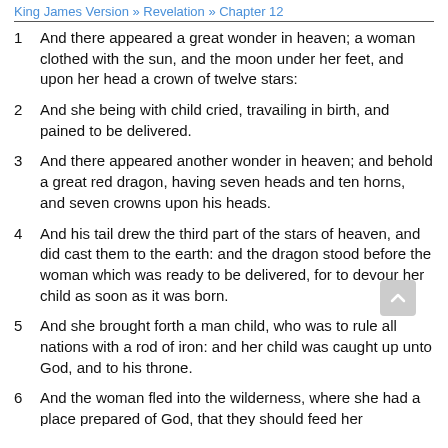King James Version » Revelation » Chapter 12
1  And there appeared a great wonder in heaven; a woman clothed with the sun, and the moon under her feet, and upon her head a crown of twelve stars:
2  And she being with child cried, travailing in birth, and pained to be delivered.
3  And there appeared another wonder in heaven; and behold a great red dragon, having seven heads and ten horns, and seven crowns upon his heads.
4  And his tail drew the third part of the stars of heaven, and did cast them to the earth: and the dragon stood before the woman which was ready to be delivered, for to devour her child as soon as it was born.
5  And she brought forth a man child, who was to rule all nations with a rod of iron: and her child was caught up unto God, and to his throne.
6  And the woman fled into the wilderness, where she had a place prepared of God, that they should feed her...